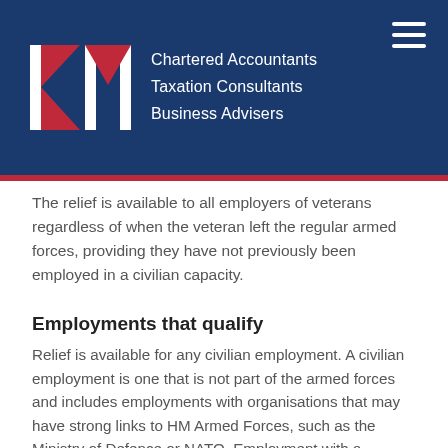[Figure (logo): KM Chartered Accountants logo with dark blue background, KM initials in white and red triangular shapes, with text: Chartered Accountants, Taxation Consultants, Business Advisers]
The relief is available to all employers of veterans regardless of when the veteran left the regular armed forces, providing they have not previously been employed in a civilian capacity.
Employments that qualify
Relief is available for any civilian employment. A civilian employment is one that is not part of the armed forces and includes employments with organisations that may have strong links to HM Armed Forces, such as the Ministry of Defence or NATO. Employment with a reserve organisation is not considered as civilian for the purpose of this relief and do not trigger the qualifying period (outlined below).
Self-employed individuals do not pay Class 1 National